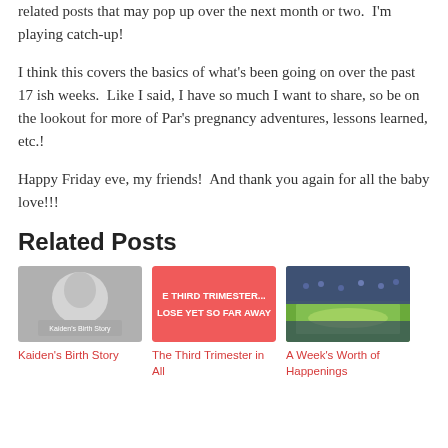related posts that may pop up over the next month or two.  I'm playing catch-up!
I think this covers the basics of what's been going on over the past 17 ish weeks.  Like I said, I have so much I want to share, so be on the lookout for more of Par's pregnancy adventures, lessons learned, etc.!
Happy Friday eve, my friends!  And thank you again for all the baby love!!!
Related Posts
[Figure (photo): Kaiden's Birth Story - grayscale photo of newborn baby]
Kaiden's Birth Story
[Figure (photo): The Third Trimester in All - red background with white text: E THIRD TRIMESTER... LOSE YET SO FAR AWAY]
The Third Trimester in All
[Figure (photo): A Week's Worth of Happenings - baseball stadium photo]
A Week's Worth of Happenings